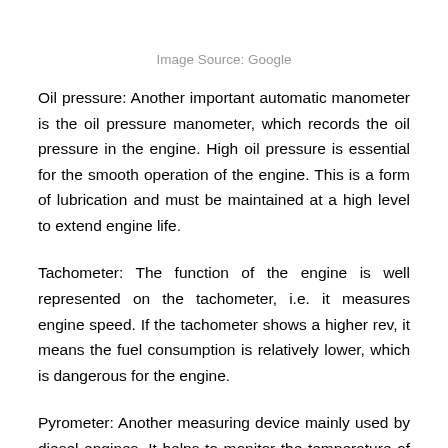Image Source: Google
Oil pressure: Another important automatic manometer is the oil pressure manometer, which records the oil pressure in the engine. High oil pressure is essential for the smooth operation of the engine. This is a form of lubrication and must be maintained at a high level to extend engine life.
Tachometer: The function of the engine is well represented on the tachometer, i.e. it measures engine speed. If the tachometer shows a higher rev, it means the fuel consumption is relatively lower, which is dangerous for the engine.
Pyrometer: Another measuring device mainly used by diesel engines. It helps to monitor the temperature of the exhaust gases. You can even search online for more information about